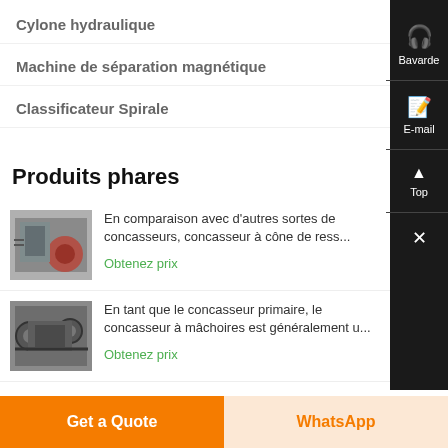Cylone hydraulique
Machine de séparation magnétique
Classificateur Spirale
Produits phares
En comparaison avec d'autres sortes de concasseurs, concasseur à cône de ress...
Obtenez prix
En tant que le concasseur primaire, le concasseur à mâchoires est généralement u...
Obtenez prix